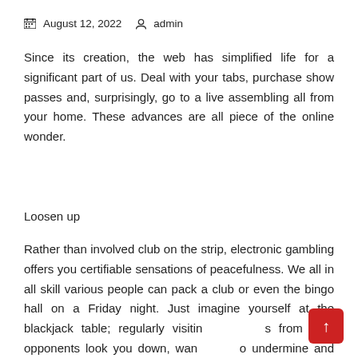August 12, 2022   admin
Since its creation, the web has simplified life for a significant part of us. Deal with your tabs, purchase show passes and, surprisingly, go to a live assembling all from your home. These advances are all piece of the online wonder.
Loosen up
Rather than involved club on the strip, electronic gambling offers you certifiable sensations of peacefulness. We all in all skill various people can pack a club or even the bingo hall on a Friday night. Just imagine yourself at the blackjack table; regularly visiting [es] from your opponents look you down, wan[...] o undermine and drive fear into your soul. Intrigued